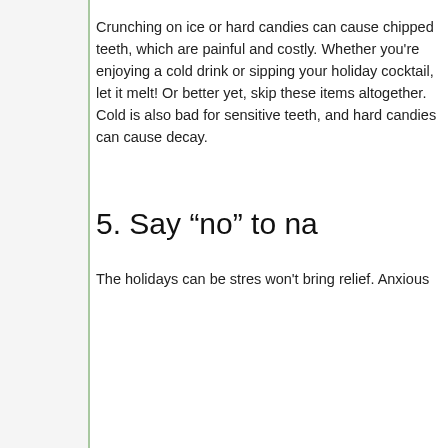We know you're excited to open gifts from your great aunt, but your teeth weren't made for that task. Gripping a package with your teeth can crack them, leading to a root canal or crown. Give your teeth a break and use scissors or a bottle opener.
4. Avoid chewing ice cubes.
Crunching on ice or hard candies can cause chipped teeth, which are painful and costly. Whether you're enjoying a cold drink or sipping your holiday cocktail, let it melt! Or better yet, skip these items altogether. Cold is also bad for sensitive teeth, and hard candies can cause decay.
5. Say “no” to na
The holidays can be stres won't bring relief. Anxious